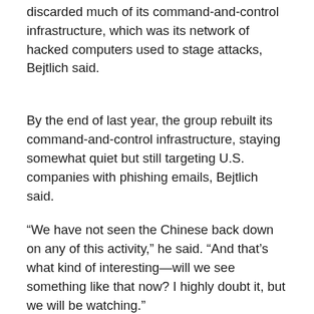mandiant issued its report, the unit laid low and discarded much of its command-and-control infrastructure, which was its network of hacked computers used to stage attacks, Bejtlich said.
By the end of last year, the group rebuilt its command-and-control infrastructure, staying somewhat quiet but still targeting U.S. companies with phishing emails, Bejtlich said.
“We have not seen the Chinese back down on any of this activity,” he said. “And that’s what kind of interesting—will we see something like that now? I highly doubt it, but we will be watching.”